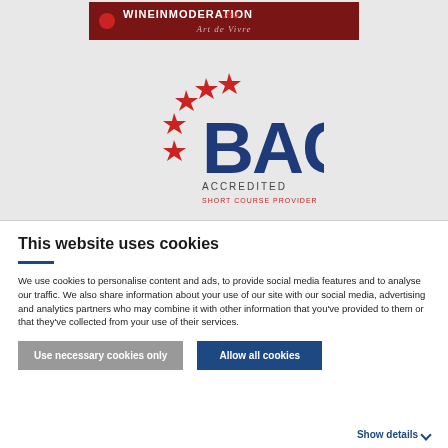[Figure (logo): WineInModeration.eu banner with 'Art de Vivre' tagline in dark red background]
[Figure (logo): BAC Accredited Short Course Provider logo with red stars arranged in arc and large blue BAC text]
This website uses cookies
We use cookies to personalise content and ads, to provide social media features and to analyse our traffic. We also share information about your use of our site with our social media, advertising and analytics partners who may combine it with other information that you've provided to them or that they've collected from your use of their services.
Use necessary cookies only
Allow all cookies
Show details